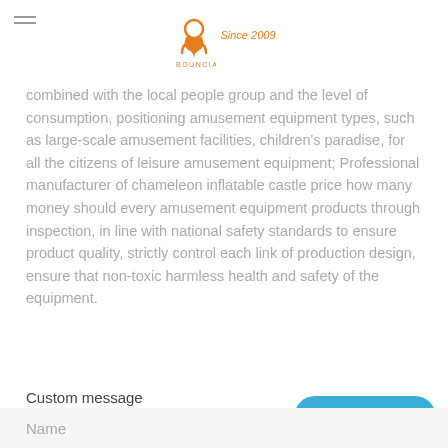BOUNCIA Since 2009
combined with the local people group and the level of consumption, positioning amusement equipment types, such as large-scale amusement facilities, children's paradise, for all the citizens of leisure amusement equipment; Professional manufacturer of chameleon inflatable castle price how many money should every amusement equipment products through inspection, in line with national safety standards to ensure product quality, strictly control each link of production design, ensure that non-toxic harmless health and safety of the equipment.
Custom message
Chat Online
Name